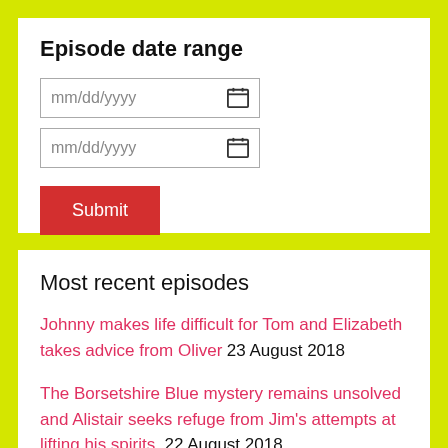Episode date range
[Figure (screenshot): Two date input fields labeled mm/dd/yyyy with calendar icons]
Submit
Most recent episodes
Johnny makes life difficult for Tom and Elizabeth takes advice from Oliver 23 August 2018
The Borsetshire Blue mystery remains unsolved and Alistair seeks refuge from Jim's attempts at lifting his spirits. 22 August 2018
Borsetshire Blue is no longer the cheese of choice